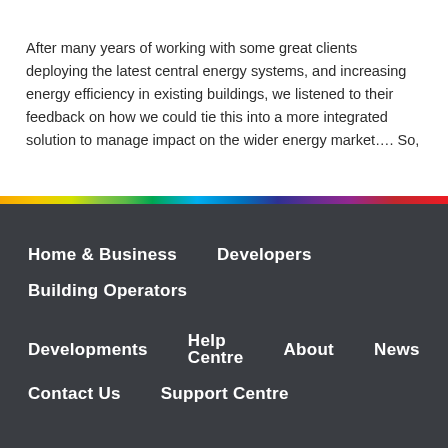After many years of working with some great clients deploying the latest central energy systems, and increasing energy efficiency in existing buildings, we listened to their feedback on how we could tie this into a more integrated solution to manage impact on the wider energy market…. So,
Home & Business
Developers
Building Operators
Developments
Help Centre
About
News
Contact Us
Support Centre